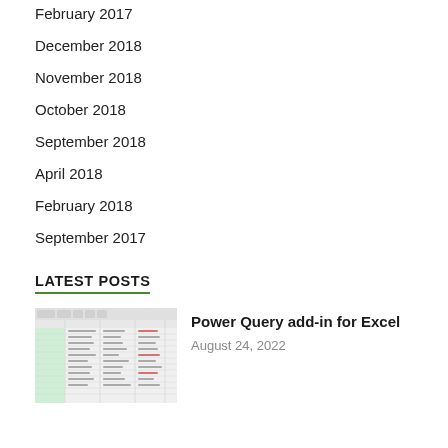February 2017
December 2018
November 2018
October 2018
September 2018
April 2018
February 2018
September 2017
LATEST POSTS
[Figure (screenshot): Thumbnail screenshot of a spreadsheet with green highlighted cells and tabular data]
Power Query add-in for Excel
August 24, 2022